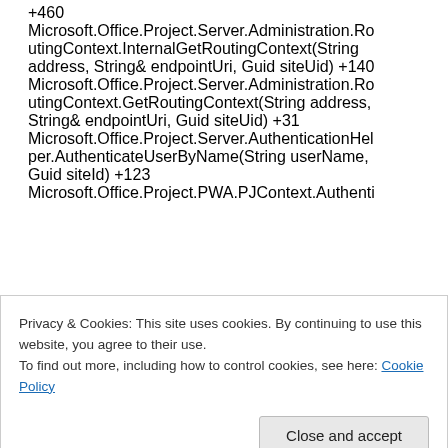+460 Microsoft.Office.Project.Server.Administration.RoutingContext.InternalGetRoutingContext(String address, String& endpointUri, Guid siteUid) +140 Microsoft.Office.Project.Server.Administration.RoutingContext.GetRoutingContext(String address, String& endpointUri, Guid siteUid) +31 Microsoft.Office.Project.Server.AuthenticationHelper.AuthenticateUserByName(String userName, Guid siteId) +123 Microsoft.Office.Project.PWA.PJContext.Authenti
Privacy & Cookies: This site uses cookies. By continuing to use this website, you agree to their use.
To find out more, including how to control cookies, see here: Cookie Policy
Close and accept